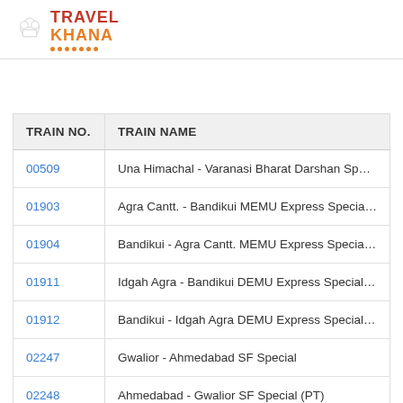[Figure (logo): TravelKhana logo with chef hat icon, 'TRAVEL' in red and 'KHANA' in orange with orange dots underline]
| TRAIN NO. | TRAIN NAME |
| --- | --- |
| 00509 | Una Himachal - Varanasi Bharat Darshan Sp... |
| 01903 | Agra Cantt. - Bandikui MEMU Express Specia... |
| 01904 | Bandikui - Agra Cantt. MEMU Express Specia... |
| 01911 | Idgah Agra - Bandikui DEMU Express Special... |
| 01912 | Bandikui - Idgah Agra DEMU Express Special... |
| 02247 | Gwalior - Ahmedabad SF Special |
| 02248 | Ahmedabad - Gwalior SF Special (PT) |